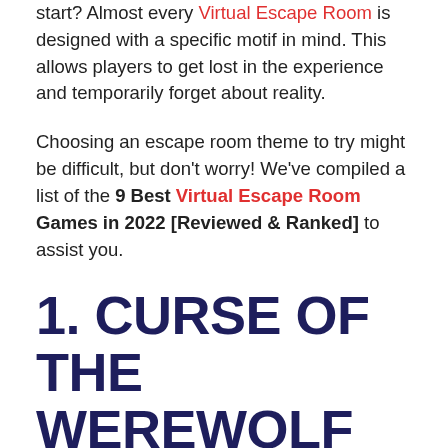start? Almost every Virtual Escape Room is designed with a specific motif in mind. This allows players to get lost in the experience and temporarily forget about reality.
Choosing an escape room theme to try might be difficult, but don't worry! We've compiled a list of the 9 Best Virtual Escape Room Games in 2022 [Reviewed & Ranked] to assist you.
1. CURSE OF THE WEREWOLF
In a small ancient village, mysterious werewolves hide in the dark, attacking innocent villagers at nightfall. Many have fallen and the town was never at peace.